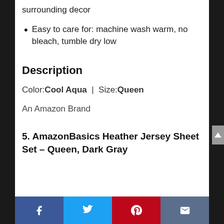surrounding decor
Easy to care for: machine wash warm, no bleach, tumble dry low
Description
Color:Cool Aqua  |  Size:Queen
An Amazon Brand
5. AmazonBasics Heather Jersey Sheet Set – Queen, Dark Gray